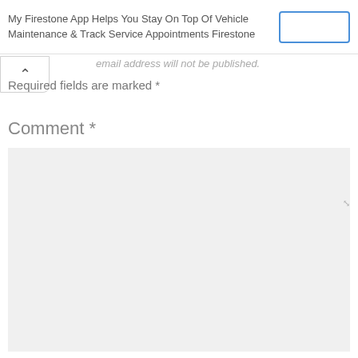My Firestone App Helps You Stay On Top Of Vehicle Maintenance & Track Service Appointments Firestone
Your email address will not be published.
Required fields are marked *
Comment *